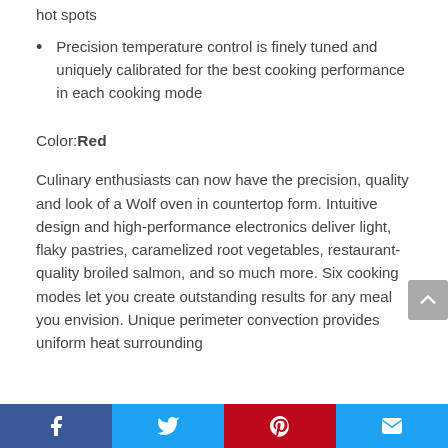hot spots
Precision temperature control is finely tuned and uniquely calibrated for the best cooking performance in each cooking mode
Color: Red
Culinary enthusiasts can now have the precision, quality and look of a Wolf oven in countertop form. Intuitive design and high-performance electronics deliver light, flaky pastries, caramelized root vegetables, restaurant-quality broiled salmon, and so much more. Six cooking modes let you create outstanding results for any meal you envision. Unique perimeter convection provides uniform heat surrounding